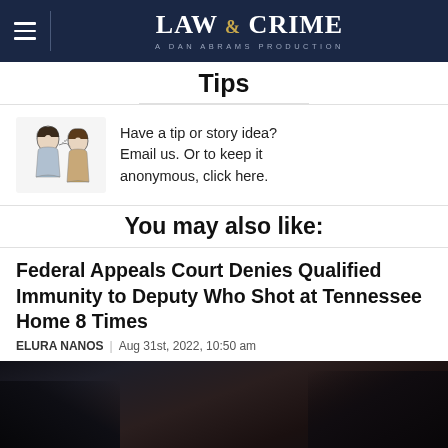LAW & CRIME — A DAN ABRAMS PRODUCTION
Tips
Have a tip or story idea? Email us. Or to keep it anonymous, click here.
You may also like:
Federal Appeals Court Denies Qualified Immunity to Deputy Who Shot at Tennessee Home 8 Times
ELURA NANOS | Aug 31st, 2022, 10:50 am
[Figure (photo): Dark silhouette photo used as article thumbnail image]